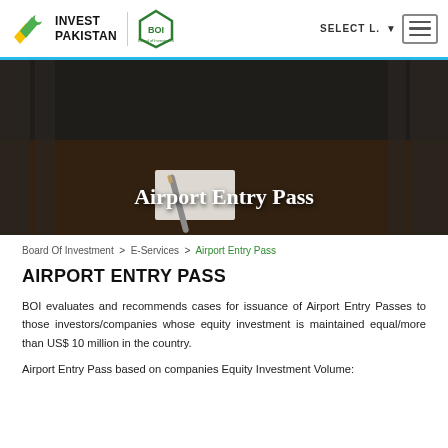INVEST PAKISTAN | BOI | SELECT L. [menu]
[Figure (photo): Background photo of a conference room with chairs and a pen on a notepad on a dark wooden table, overlaid with the text 'Airport Entry Pass']
Airport Entry Pass
Board Of Investment > E-Services > Airport Entry Pass
AIRPORT ENTRY PASS
BOI evaluates and recommends cases for issuance of Airport Entry Passes to those investors/companies whose equity investment is maintained equal/more than US$ 10 million in the country.
Airport Entry Pass based on companies Equity Investment Volume: